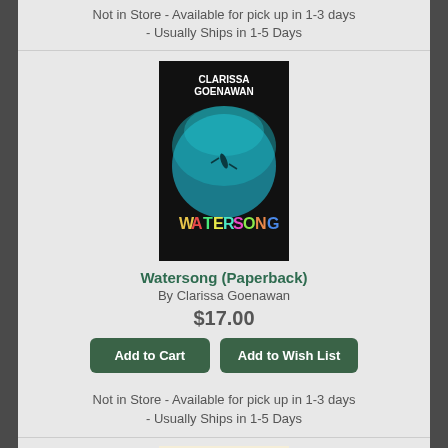Not in Store - Available for pick up in 1-3 days - Usually Ships in 1-5 Days
[Figure (photo): Book cover of Watersong by Clarissa Goenawan - black background with teal circular underwater scene and colorful title text]
Watersong (Paperback)
By Clarissa Goenawan
$17.00
Add to Cart
Add to Wish List
Not in Store - Available for pick up in 1-3 days - Usually Ships in 1-5 Days
[Figure (photo): Partial book cover of The Billionaire & the Monk - cream/beige background with decorative border and illustrated building]